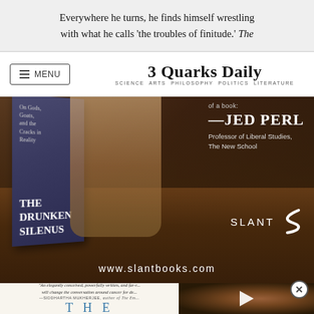Everywhere he turns, he finds himself wrestling with what he calls ‘the troubles of finitude.’ The
3 Quarks Daily
SCIENCE ARTS PHILOSOPHY POLITICS LITERATURE
[Figure (photo): Advertisement for 'The Drunken Silenus' book published by Slant Books. Shows a book cover with classical artwork, text 'On Gods, Goats, and the Cracks in Reality', THE DRUNKEN SILENUS, quote by JED PERL, Professor of Liberal Studies, The New School. www.slantbooks.com]
[Figure (screenshot): Bottom portion showing another book advertisement with quote by Siddhartha Mukherjee and large letters 'THE' in blue, alongside a video thumbnail showing Jupiter's surface with a play button]
"An elegantly conceived, powerfully written, and far-r... will change the conversation around cancer for de... —SIDDHARTHA MUKHERJEE, author of The Em...
T H E